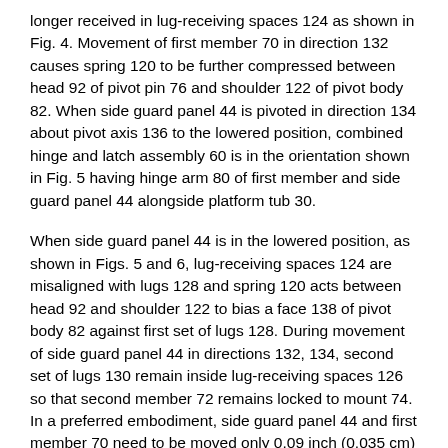longer received in lug-receiving spaces 124 as shown in Fig. 4. Movement of first member 70 in direction 132 causes spring 120 to be further compressed between head 92 of pivot pin 76 and shoulder 122 of pivot body 82. When side guard panel 44 is pivoted in direction 134 about pivot axis 136 to the lowered position, combined hinge and latch assembly 60 is in the orientation shown in Fig. 5 having hinge arm 80 of first member and side guard panel 44 alongside platform tub 30.
When side guard panel 44 is in the lowered position, as shown in Figs. 5 and 6, lug-receiving spaces 124 are misaligned with lugs 128 and spring 120 acts between head 92 and shoulder 122 to bias a face 138 of pivot body 82 against first set of lugs 128. During movement of side guard panel 44 in directions 132, 134, second set of lugs 130 remain inside lug-receiving spaces 126 so that second member 72 remains locked to mount 74. In a preferred embodiment, side guard panel 44 and first member 70 need to be moved only 0.09 inch (0.035 cm) in direction 132 before lugs 128 are no longer received in lug-receiving spaces 124.